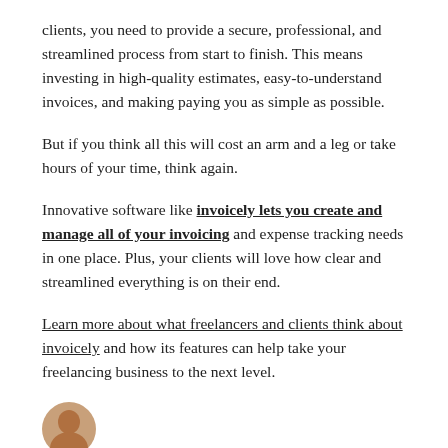clients, you need to provide a secure, professional, and streamlined process from start to finish. This means investing in high-quality estimates, easy-to-understand invoices, and making paying you as simple as possible.
But if you think all this will cost an arm and a leg or take hours of your time, think again.
Innovative software like invoicely lets you create and manage all of your invoicing and expense tracking needs in one place. Plus, your clients will love how clear and streamlined everything is on their end.
Learn more about what freelancers and clients think about invoicely and how its features can help take your freelancing business to the next level.
[Figure (illustration): Circular avatar photo of a person, partially visible at bottom of page]